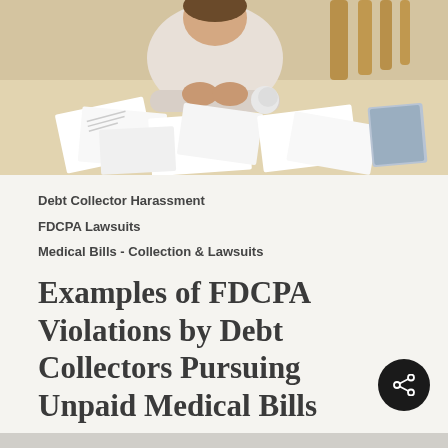[Figure (photo): Person sitting at a table overwhelmed by scattered papers and documents, head in hands, stress over bills.]
Debt Collector Harassment
FDCPA Lawsuits
Medical Bills - Collection & Lawsuits
Examples of FDCPA Violations by Debt Collectors Pursuing Unpaid Medical Bills